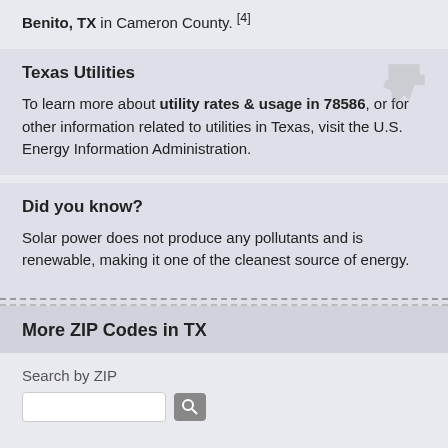Benito, TX in Cameron County. [4]
Texas Utilities
To learn more about utility rates & usage in 78586, or for other information related to utilities in Texas, visit the U.S. Energy Information Administration.
Did you know?
Solar power does not produce any pollutants and is renewable, making it one of the cleanest source of energy.
More ZIP Codes in TX
Search by ZIP